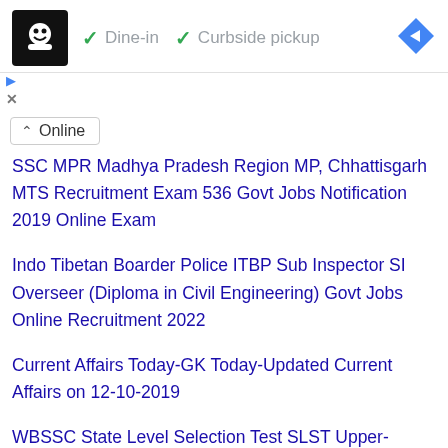[Figure (screenshot): Advertisement banner with restaurant logo, checkmarks for Dine-in and Curbside pickup, and navigation icon]
Online (dropdown chip)
SSC MPR Madhya Pradesh Region MP, Chhattisgarh MTS Recruitment Exam 536 Govt Jobs Notification 2019 Online Exam
Indo Tibetan Boarder Police ITBP Sub Inspector SI Overseer (Diploma in Civil Engineering) Govt Jobs Online Recruitment 2022
Current Affairs Today-GK Today-Updated Current Affairs on 12-10-2019
WBSSC State Level Selection Test SLST Upper-Primary Schools Assistant Teachers Recruitment 2021 Govt Jobs Online
SSC Stenographer Grade C, Grade D Govt Jobs